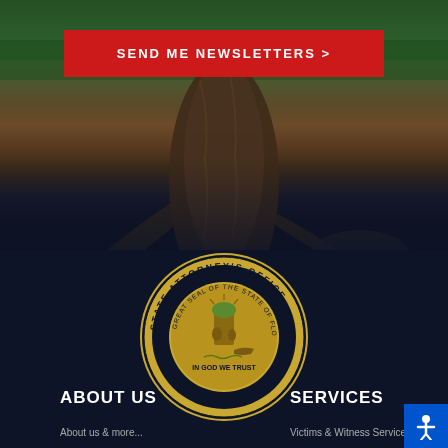[Figure (photo): Background photo of cypress tree trunks near water with green foliage, transitioning to dark navy blue overlay at bottom]
SEND ME NEWSLETTERS >
[Figure (logo): State Attorney's Office seal - circular gold and navy badge reading 'STATE ATTORNEY'S OFFICE' and '20TH JUDICIAL CIRCUIT' with Florida state seal in center showing 'IN GOD WE TRUST']
ABOUT US
SERVICES